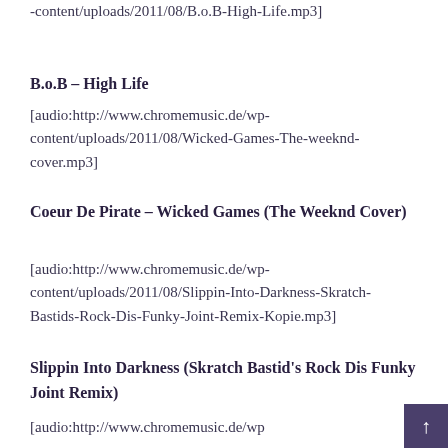-content/uploads/2011/08/B.o.B-High-Life.mp3]
B.o.B – High Life
[audio:http://www.chromemusic.de/wp-content/uploads/2011/08/Wicked-Games-The-weeknd-cover.mp3]
Coeur De Pirate – Wicked Games (The Weeknd Cover)
[audio:http://www.chromemusic.de/wp-content/uploads/2011/08/Slippin-Into-Darkness-Skratch-Bastids-Rock-Dis-Funky-Joint-Remix-Kopie.mp3]
Slippin Into Darkness (Skratch Bastid's Rock Dis Funky Joint Remix)
[audio:http://www.chromemusic.de/wp-content/uploads/2011/09/01-Ritual-Union.mp3]
Little Dragon – Ritual Union
[audio:http://www.chromemusic.de/wp